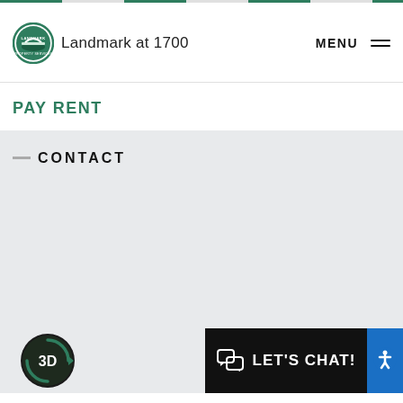[Figure (other): Colored navigation tab bar at the very top of the page, alternating green and gray segments]
[Figure (logo): Landmark Property Services circular logo with bridge graphic, green border]
Landmark at 1700
MENU (hamburger menu icon)
PAY RENT
CONTACT
[Figure (other): 3D tour button — dark circular icon with green arrow and '3D' text]
LET'S CHAT!
[Figure (other): Blue accessibility icon button on the right side of chat bar]